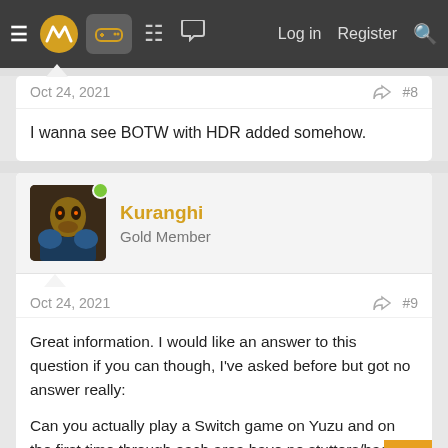Navigation bar with menu, logo, controller icon, building icon, chat icon, Log in, Register, Search
Oct 24, 2021  #8
I wanna see BOTW with HDR added somehow.
Kuranghi
Gold Member
Oct 24, 2021  #9
Great information. I would like an answer to this question if you can though, I've asked before but got no answer really:

Can you actually play a Switch game on Yuzu and on the first time through each area have no stutters/bad frametimes from cache generation or anything else that would cause stutters within the emulation process?